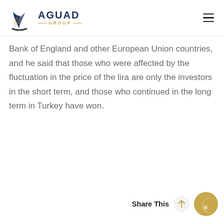AGUAD GROUP
Bank of England and other European Union countries, and he said that those who were affected by the fluctuation in the price of the lira are only the investors in the short term, and those who continued in the long term in Turkey have won.
Share This